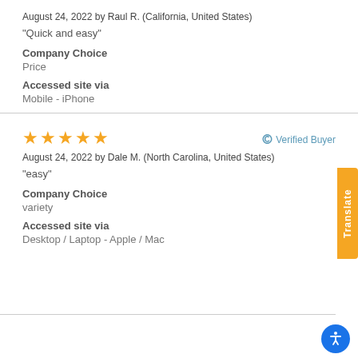August 24, 2022 by Raul R. (California, United States)
“Quick and easy”
Company Choice
Price
Accessed site via
Mobile - iPhone
[Figure (other): 5 orange stars rating with Verified Buyer badge]
August 24, 2022 by Dale M. (North Carolina, United States)
“easy”
Company Choice
variety
Accessed site via
Desktop / Laptop - Apple / Mac